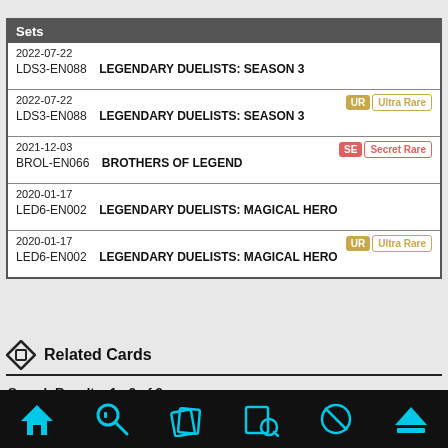| Sets |
| --- |
| 2022-07-22 |  | LDS3-EN088 | LEGENDARY DUELISTS: SEASON 3 |  |
| 2022-07-22 | UR Ultra Rare | LDS3-EN088 | LEGENDARY DUELISTS: SEASON 3 | UR |
| 2021-12-03 | SE Secret Rare | BROL-EN066 | BROTHERS OF LEGEND | SE |
| 2020-01-17 |  | LED6-EN002 | LEGENDARY DUELISTS: MAGICAL HERO |  |
| 2020-01-17 | UR Ultra Rare | LED6-EN002 | LEGENDARY DUELISTS: MAGICAL HERO | UR |
Related Cards
Search Results: 1 - 9 of 9